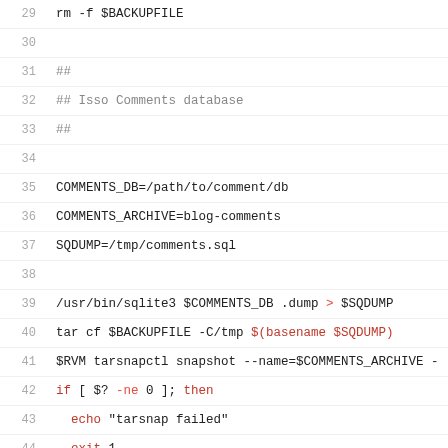29: rm -f $BACKUPFILE
30: (blank)
31: ##
32: ## Isso Comments database
33: ##
34: (blank)
35: COMMENTS_DB=/path/to/comment/db
36: COMMENTS_ARCHIVE=blog-comments
37: SQDUMP=/tmp/comments.sql
38: (blank)
39: /usr/bin/sqlite3 $COMMENTS_DB .dump > $SQDUMP
40: tar cf $BACKUPFILE -C/tmp $(basename $SQDUMP)
41: $RVM tarsnapctl snapshot --name=$COMMENTS_ARCHIVE -
42: if [ $? -ne 0 ]; then
43:   echo "tarsnap failed"
44:   exit 1
45: fi
46: (blank)
47: $RVM tarsnapctl prune --name=$COMMENTS_ARCHIVE
48: (blank)